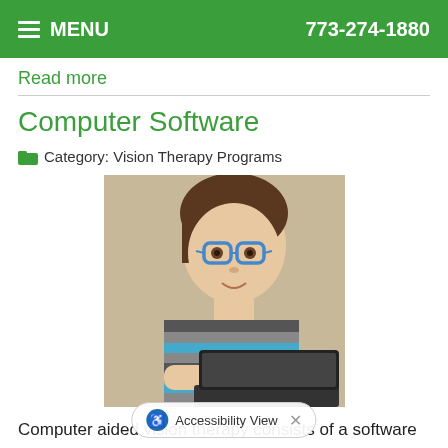MENU  773-274-1880
Read more
Computer Software
Category: Vision Therapy Programs
[Figure (photo): Young child with blue glasses looking at a laptop computer]
Computer aided vision therapy consists of a software package designed to enhance eye tracking skills, visual thinking, processing skills and binocular vision skills. Eye teaming, focusing and tracking are not optical in nature, and programs are the